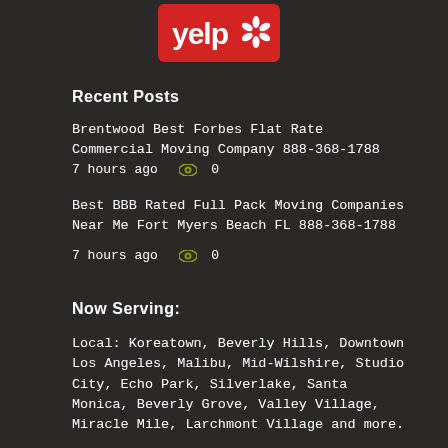[Figure (logo): Yelp logo — red rectangle with white 'yelp' text and asterisk flower icon]
Recent Posts
Brentwood Best Forbes Flat Rate Commercial Moving Company 888-368-1788
7 hours ago  0
Best BBB Rated Full Pack Moving Companies Near Me Fort Myers Beach FL 888-368-1788
7 hours ago  0
Now Serving:
Local: Koreatown, Beverly Hills, Downtown Los Angeles, Malibu, Mid-Wilshire, Studio City, Echo Park, Silverlake, Santa Monica, Beverly Grove, Valley Village, Miracle Mile, Larchmont Village and more.